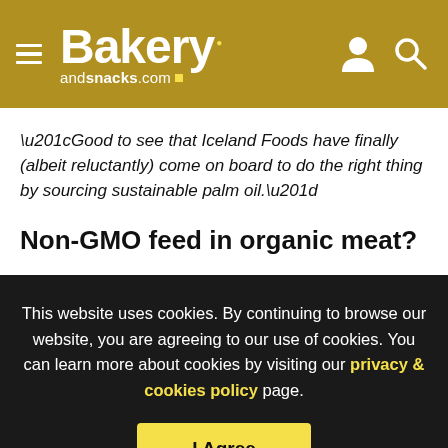Bakery andsnacks.com
“Good to see that Iceland Foods have finally (albeit reluctantly) come on board to do the right thing by sourcing sustainable palm oil.”
Non-GMO feed in organic meat?
Ukraine is also a major supplier of non-GMO sunflower seeds and cakes to the feed sector.
This website uses cookies. By continuing to browse our website, you are agreeing to our use of cookies. You can learn more about cookies by visiting our privacy & cookies policy page.
I Agree